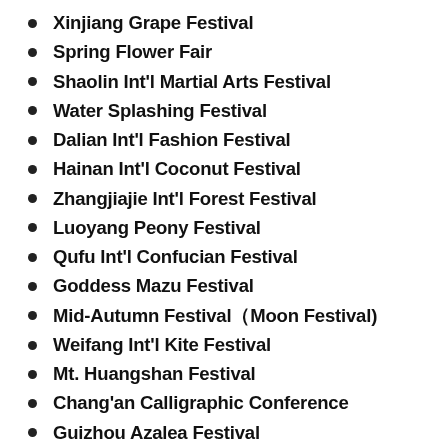Xinjiang Grape Festival
Spring Flower Fair
Shaolin Int'l Martial Arts Festival
Water Splashing Festival
Dalian Int'l Fashion Festival
Hainan Int'l Coconut Festival
Zhangjiajie Int'l Forest Festival
Luoyang Peony Festival
Qufu Int'l Confucian Festival
Goddess Mazu Festival
Mid-Autumn Festival（Moon Festival)
Weifang Int'l Kite Festival
Mt. Huangshan Festival
Chang'an Calligraphic Conference
Guizhou Azalea Festival